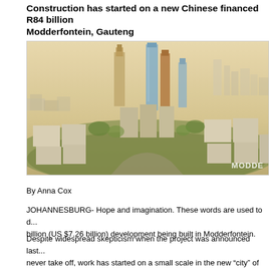Construction has started on a new Chinese financed R84 billion Modderfontein, Gauteng
[Figure (illustration): Architectural rendering of the proposed Modderfontein new city development showing tall modern towers surrounded by low-rise white buildings and green spaces, aerial perspective. Watermark 'MODDE' visible in bottom right.]
By Anna Cox
JOHANNESBURG- Hope and imagination. These words are used to describe the R84 billion (US $7.26 billion) development being built in Modderfontein.
Despite widespread skepticism when the project was announced last year that it would never take off, work has started on a small scale in the new "city" of Z... developed in the area.